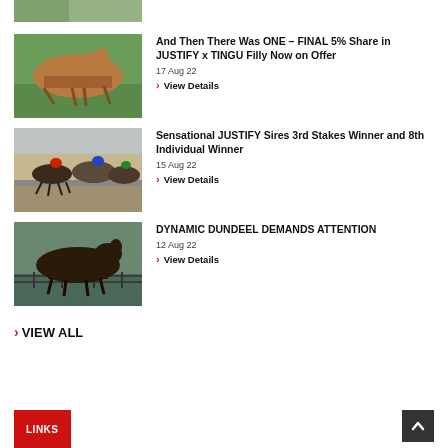[Figure (photo): Partial view of a horse photo strip at the top of the page]
[Figure (photo): Chestnut horse standing in field, profile view]
And Then There Was ONE – FINAL 5% Share in JUSTIFY x TINGU Filly Now on Offer
17 Aug 22
View Details
[Figure (photo): Horse race in progress with jockeys, crowd in background]
Sensational JUSTIFY Sires 3rd Stakes Winner and 8th Individual Winner
15 Aug 22
View Details
[Figure (photo): Dark bay horse standing in paddock, profile view]
DYNAMIC DUNDEEL DEMANDS ATTENTION
12 Aug 22
View Details
VIEW ALL
LINKS